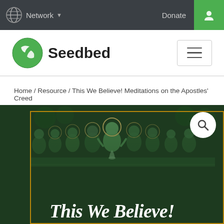Network   Donate
[Figure (logo): Seedbed logo with green globe icon and bold text 'Seedbed']
Home / Resource / This We Believe! Meditations on the Apostles' Creed
[Figure (photo): Book cover for 'This We Believe! Meditations on the Apostles Creed' featuring a dark green background with a Last Supper illustration and italic serif title text at the bottom reading 'This We Believe!']